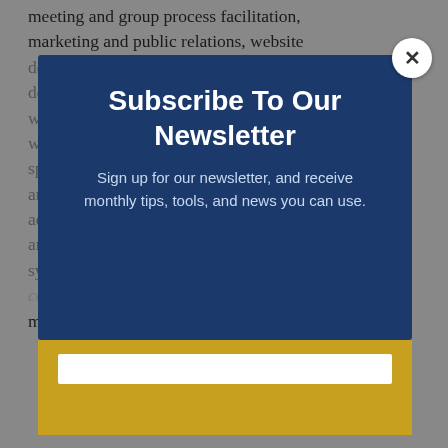meeting and group process facilitation, marketing and public relations, website development and content creation, graphic design for collateral and advertising, copy-writing, technical writing and editing, grant writing, educational curriculum development, special events planning, facilities planning, ambulatory services setup and management, accounting systems and database analysis and financial information systems operations of grant applications, physician compensation planning, and project management.
[Figure (screenshot): A modal popup overlay with dark navy blue background showing 'Subscribe To Our Newsletter' heading and subtitle 'Sign up for our newsletter, and receive monthly tips, tools, and news you can use.' Below is a gold/yellow section with a white input field. A white circular close button with X is in the top-right corner.]